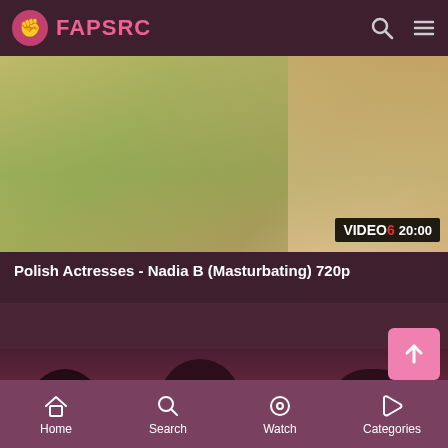FAPSRC
[Figure (screenshot): Video thumbnail showing a bed scene with green bedding and a person with blonde hair, with a video watermark overlay showing '20:00' duration]
Polish Actresses - Nadia B (Masturbating) 720p
[Figure (screenshot): Second video thumbnail showing silhouettes of people in a dark reddish-brown room]
Home  Search  Watch  Categories